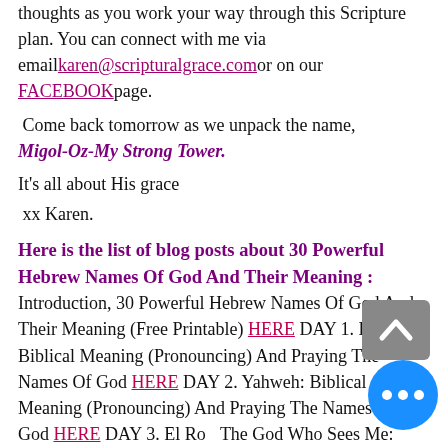thoughts as you work your way through this Scripture plan. You can connect with me via email karen@scripturalgrace.com or on our FACEBOOK page.
Come back tomorrow as we unpack the name, Migol-Oz-My Strong Tower.
It's all about His grace
xx Karen.
Here is the list of blog posts about 30 Powerful Hebrew Names Of God And Their Meaning : Introduction, 30 Powerful Hebrew Names Of God And Their Meaning (Free Printable) HERE DAY 1. Elohim: Biblical Meaning (Pronouncing) And Praying The Names Of God HERE DAY 2. Yahweh: Biblical Meaning (Pronouncing) And Praying The Names Of God HERE DAY 3. El Roi: The God Who Sees Me: Biblical Meaning (Pronouncing) And Praying The Names Of